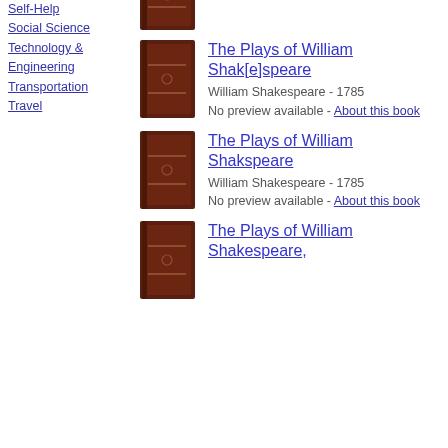Self-Help
Social Science
Technology & Engineering
Transportation
Travel
[Figure (illustration): Brown book cover thumbnail for Shakespeare Volume 10]
William Shakespeare - 1793
No preview available - About this book
[Figure (illustration): Brown book cover thumbnail for The Plays of William Shak[e]speare]
The Plays of William Shak[e]speare
William Shakespeare - 1785
No preview available - About this book
[Figure (illustration): Brown book cover thumbnail for The Plays of William Shakspeare]
The Plays of William Shakspeare
William Shakespeare - 1785
No preview available - About this book
[Figure (illustration): Brown book cover thumbnail for The Plays of William Shakespeare]
The Plays of William Shakespeare,